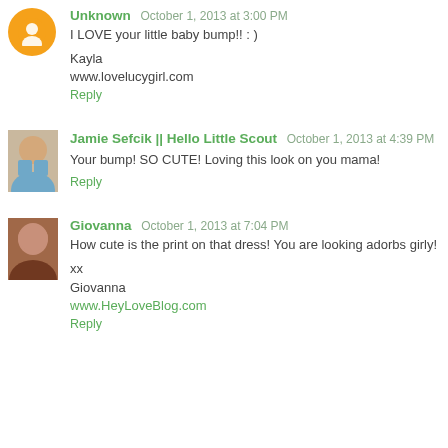Unknown  October 1, 2013 at 3:00 PM
I LOVE your little baby bump!! : )
Kayla
www.lovelucygirl.com
Reply
Jamie Sefcik || Hello Little Scout  October 1, 2013 at 4:39 PM
Your bump! SO CUTE! Loving this look on you mama!
Reply
Giovanna  October 1, 2013 at 7:04 PM
How cute is the print on that dress! You are looking adorbs girly!
xx
Giovanna
www.HeyLoveBlog.com
Reply